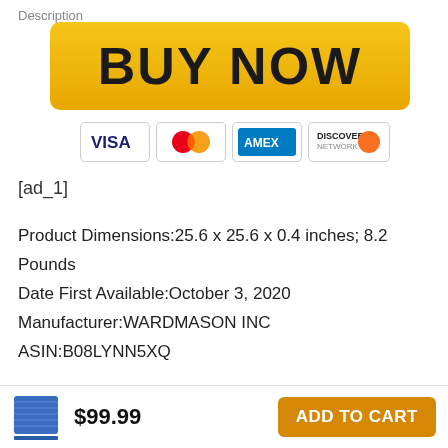Description
[Figure (illustration): BUY NOW orange button with rounded corners]
[Figure (illustration): Payment method logos: VISA, MasterCard, AMEX, Discover Network]
[ad_1]
Product Dimensions:25.6 x 25.6 x 0.4 inches; 8.2 Pounds
Date First Available:October 3, 2020
Manufacturer:WARDMASON INC
ASIN:B08LYNN5XQ
2. SAFE HIGH DENSITY EXERCISE MAT: From raw
[Figure (illustration): Blue exercise mat product icon, price $99.99, and ADD TO CART button]